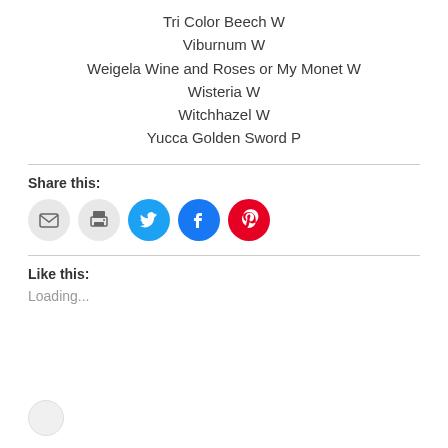Tri Color Beech W
Viburnum W
Weigela Wine and Roses or My Monet W
Wisteria W
Witchhazel W
Yucca Golden Sword P
Share this:
[Figure (infographic): Social share buttons: email (grey circle), print (grey circle), Twitter (cyan circle with bird icon), Facebook (blue circle with f icon), Pinterest (red circle with P icon)]
Like this:
Loading...